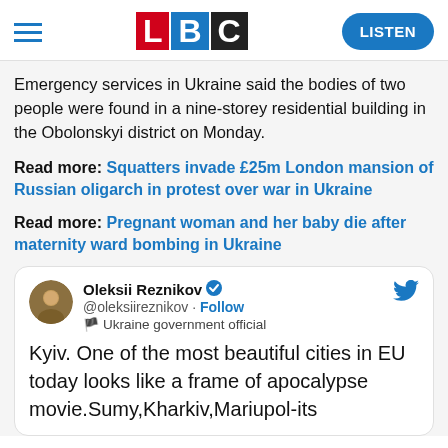LBC | LISTEN
Emergency services in Ukraine said the bodies of two people were found in a nine-storey residential building in the Obolonskyi district on Monday.
Read more: Squatters invade £25m London mansion of Russian oligarch in protest over war in Ukraine
Read more: Pregnant woman and her baby die after maternity ward bombing in Ukraine
Oleksii Reznikov @oleksiireznikov · Follow · Ukraine government official

Kyiv. One of the most beautiful cities in EU today looks like a frame of apocalypse movie.Sumy,Kharkiv,Mariupol-its